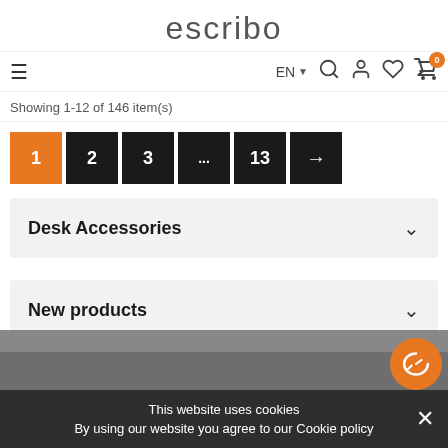escribo
EN ▼ 🔍 👤 ♡ 🛒 0
Showing 1-12 of 146 item(s)
Pagination: 1 (active), 2, 3, ..., 13, →
Desk Accessories ∨
New products ∨
This website uses cookies
By using our website you agree to our Cookie policy ✕